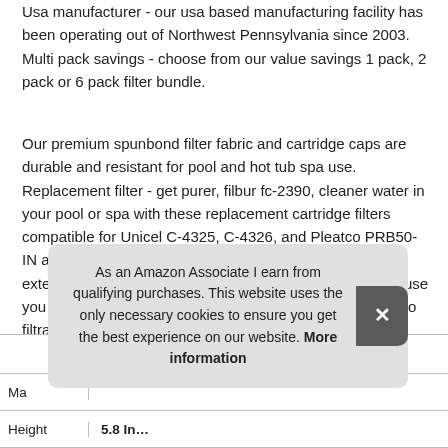Usa manufacturer - our usa based manufacturing facility has been operating out of Northwest Pennsylvania since 2003. Multi pack savings - choose from our value savings 1 pack, 2 pack or 6 pack filter bundle.
Our premium spunbond filter fabric and cartridge caps are durable and resistant for pool and hot tub spa use. Replacement filter - get purer, filbur fc-2390, cleaner water in your pool or spa with these replacement cartridge filters compatible for Unicel C-4325, C-4326, and Pleatco PRB50-IN and PRB68. Having multiple filters on hand can help extend the life of each and protects your pool or spa because you can keep 1 filter active while cleaning the other for zero filtration downtime. See below for alternative filter names.
As an Amazon Associate I earn from qualifying purchases. This website uses the only necessary cookies to ensure you get the best experience on our website. More information
| Ma |  |
| Height | 5.8 In... |